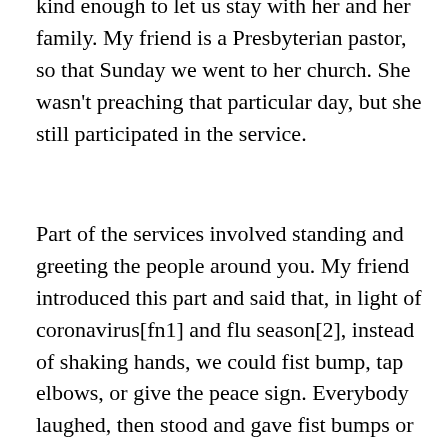kind enough to let us stay with her and her family. My friend is a Presbyterian pastor, so that Sunday we went to her church. She wasn't preaching that particular day, but she still participated in the service.
Part of the services involved standing and greeting the people around you. My friend introduced this part and said that, in light of coronavirus[fn1] and flu season[2], instead of shaking hands, we could fist bump, tap elbows, or give the peace sign. Everybody laughed, then stood and gave fist bumps or the peace sign.
As the coronavirus shows signs of become a pandemic, it seems like we should start thinking about changes we need to make in our worship service. And it seems to me that the sacrament is a big place where we should seriously consider change. And I'm not talking just those